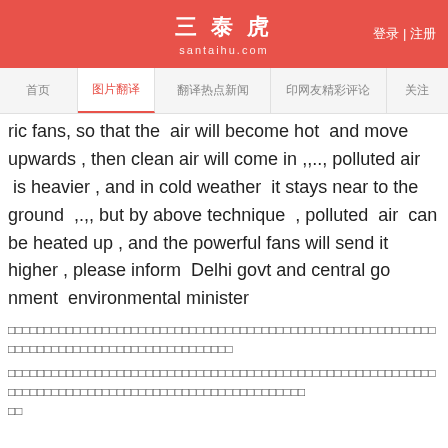三泰虎 santaihu.com 登录 | 注册
首页 图片翻译 翻译热点新闻 印网友精彩评论 关注
ric fans, so that the air will become hot and move upwards , then clean air will come in ,,.., polluted air is heavier , and in cold weather it stays near to the ground ,.,, but by above technique , polluted air can be heated up , and the powerful fans will send it higher , please inform Delhi govt and central go nment environmental minister
（Chinese characters line 1）
（Chinese characters line 2）
СТАЛИН ИОСИФ
At USSR workers have proven that they can live without the